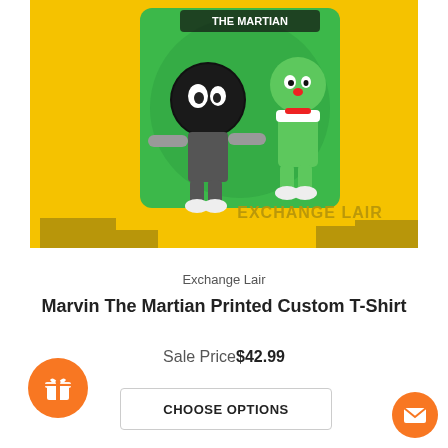[Figure (photo): Product photo of a Marvin The Martian Printed Custom T-Shirt with yellow background and cartoon characters, with 'Exchange Lair' watermark]
Exchange Lair
Marvin The Martian Printed Custom T-Shirt
Sale Price$42.99
CHOOSE OPTIONS